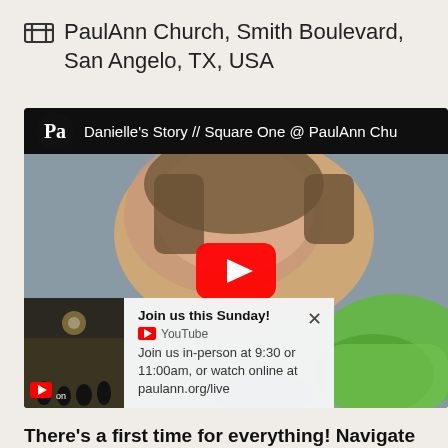PaulAnn Church, Smith Boulevard, San Angelo, TX, USA
[Figure (screenshot): YouTube video thumbnail showing a young woman leaning over a colorful toy, with YouTube play button overlay. Video title: Danielle's Story // Square One @ PaulAnn Chu...]
Join us this Sunday!
Join us in-person at 9:30 or 11:00am, or watch online at paulann.org/live
There's a first time for everything! Navigate